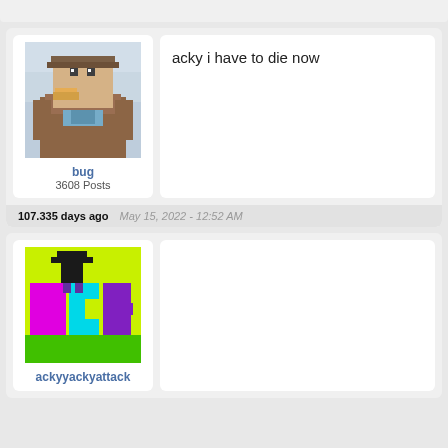[Figure (screenshot): Top partial post — cut off at top of page]
[Figure (photo): Avatar image of a pixelated duck/bird character in brown and white on a snowy background]
bug
3608 Posts
acky i have to die now
107.335 days ago   May 15, 2022 - 12:52 AM
[Figure (photo): Avatar image with colorful pixel art showing 'ACK' text in pink/magenta on yellow-green background with black top hat character]
ackyyackyattack